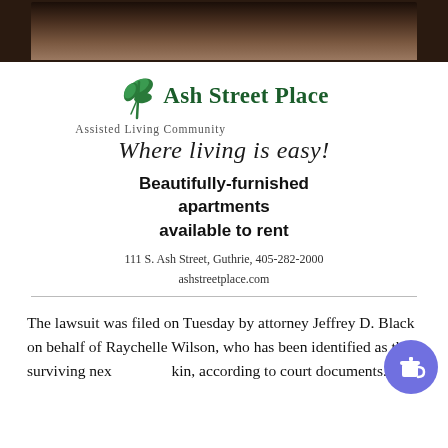[Figure (photo): Top portion of a photo showing what appears to be a dark decorative headboard or furniture piece]
[Figure (logo): Ash Street Place Assisted Living Community logo with green leaf icon and cursive tagline 'Where living is easy!']
Beautifully-furnished apartments available to rent
111 S. Ash Street, Guthrie, 405-282-2000
ashstreetplace.com
The lawsuit was filed on Tuesday by attorney Jeffrey D. Black on behalf of Raychelle Wilson, who has been identified as the surviving next kin, according to court documents.
...